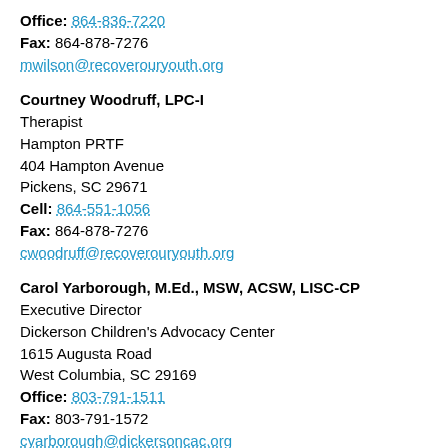Office: 864-836-7220
Fax: 864-878-7276
mwilson@recoverouryouth.org
Courtney Woodruff, LPC-I
Therapist
Hampton PRTF
404 Hampton Avenue
Pickens, SC 29671
Cell: 864-551-1056
Fax: 864-878-7276
cwoodruff@recoverouryouth.org
Carol Yarborough, M.Ed., MSW, ACSW, LISC-CP
Executive Director
Dickerson Children's Advocacy Center
1615 Augusta Road
West Columbia, SC 29169
Office: 803-791-1511
Fax: 803-791-1572
cyarborough@dickersoncac.org